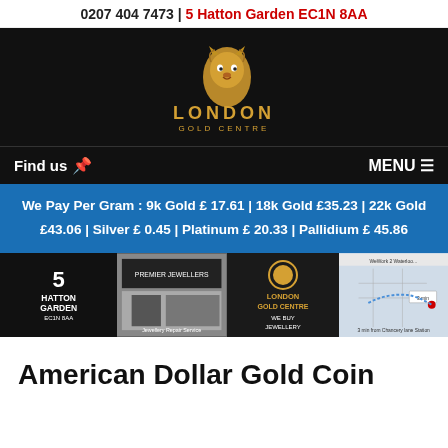0207 404 7473 | 5 Hatton Garden EC1N 8AA
[Figure (logo): London Gold Centre lion logo with golden lion head and 'LONDON GOLD CENTRE' text on black background]
Find us  MENU
We Pay Per Gram : 9k Gold £ 17.61 | 18k Gold £35.23 | 22k Gold £43.06 | Silver £ 0.45 | Platinum £ 20.33 | Pallidium £ 45.86
[Figure (photo): Photo strip showing: 5 Hatton Garden EC1N 8AA sign, Premier Jewellers storefront, London Gold Centre We Buy Jewellery sign, map showing 3 min from Chancery Lane Station]
American Dollar Gold Coin